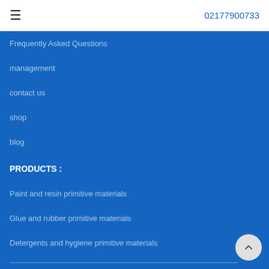☰  02177900733
Frequently Asked Questions
management
contact us
shop
blog
PRODUCTS :
Paint and resin primitive materials
Glue and rubber primitive materials
Detergents and hygiene primitive materials